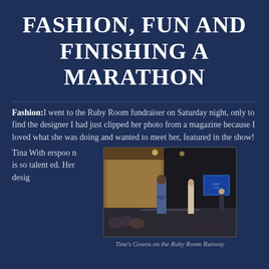FASHION, FUN AND FINISHING A MARATHON
Fashion: I went to the Ruby Room fundraiser on Saturday night, only to find the designer I had just clipped her photo from a magazine because I loved what she was doing and wanted to meet her, featured in the show!
Tina Witherspoon is so talented. Her desig
[Figure (photo): Fashion runway photo showing models walking on a runway at the Ruby Room event, with audience watching and a projection screen visible in the background.]
Tina's Gowns on the Ruby Room Runway